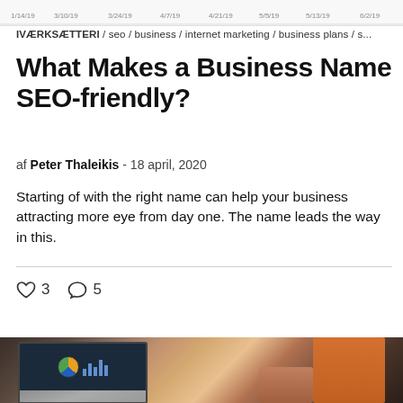[Figure (screenshot): Partial chart strip at top of page showing date axis labels: 1/14/19, 3/10/19, 3/24/19, 4/7/19, 4/21/19, 5/5/19, 5/19/19, 6/2/19]
IVÆRKSÆTTERI / seo / business / internet marketing / business plans / s...
What Makes a Business Name SEO-friendly?
af Peter Thaleikis - 18 april, 2020
Starting of with the right name can help your business attracting more eye from day one. The name leads the way in this.
♡ 3   ○ 5
[Figure (photo): Business meeting photo showing people around a table with a laptop displaying charts (pie chart and bar charts), papers, and hands visible. One person wearing orange clothing on the right.]